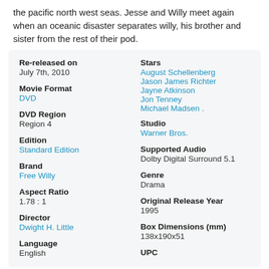the pacific north west seas. Jesse and Willy meet again when an oceanic disaster separates willy, his brother and sister from the rest of their pod.
| Re-released on | July 7th, 2010 | Stars | August Schellenberg, Jason James Richter, Jayne Atkinson, Jon Tenney, Michael Madsen . |
| Movie Format | DVD | Studio | Warner Bros. |
| DVD Region | Region 4 | Supported Audio | Dolby Digital Surround 5.1 |
| Edition | Standard Edition | Genre | Drama |
| Brand | Free Willy | Original Release Year | 1995 |
| Aspect Ratio | 1.78 : 1 | Box Dimensions (mm) | 138x190x51 |
| Director | Dwight H. Little | UPC |  |
| Language | English |  |  |